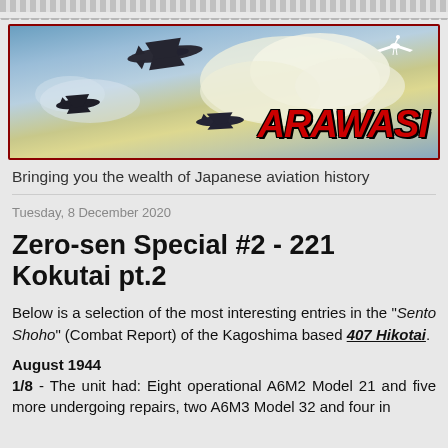[Figure (illustration): Arawasi blog banner image showing WWII Japanese aircraft silhouettes flying against a sky with clouds, with the red italic text 'ARAWASI' and a white crane bird on the right side. The banner has a dark red border.]
Bringing you the wealth of Japanese aviation history
Tuesday, 8 December 2020
Zero-sen Special #2 - 221 Kokutai pt.2
Below is a selection of the most interesting entries in the "Sento Shoho" (Combat Report) of the Kagoshima based 407 Hikotai.
August 1944
1/8 - The unit had: Eight operational A6M2 Model 21 and five more undergoing repairs, two A6M3 Model 32 and four in